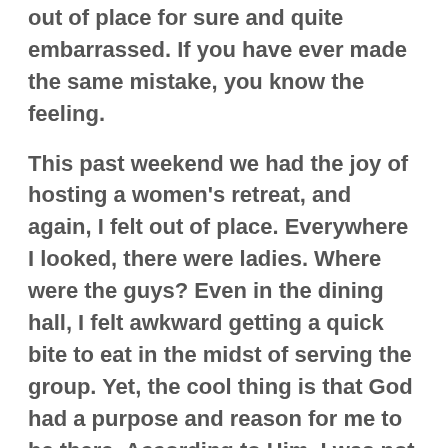out of place for sure and quite embarrassed. If you have ever made the same mistake, you know the feeling.
This past weekend we had the joy of hosting a women's retreat, and again, I felt out of place. Everywhere I looked, there were ladies. Where were the guys? Even in the dining hall, I felt awkward getting a quick bite to eat in the midst of serving the group. Yet, the cool thing is that God had a purpose and reason for me to be there. According to Him, I was not out of place.
I have chosen to follow Jesus and seek His